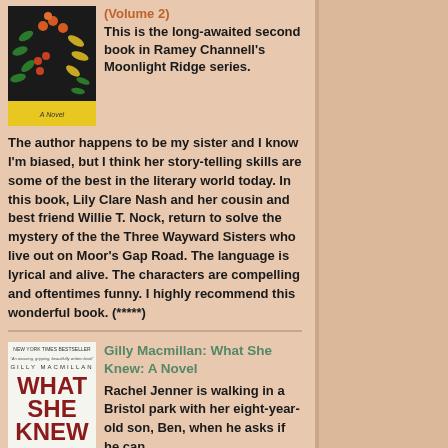(Volume 2) This is the long-awaited second book in Ramey Channell's Moonlight Ridge series. The author happens to be my sister and I know I'm biased, but I think her story-telling skills are some of the best in the literary world today. In this book, Lily Clare Nash and her cousin and best friend Willie T. Nock, return to solve the mystery of the the Three Wayward Sisters who live out on Moor's Gap Road. The language is lyrical and alive. The characters are compelling and oftentimes funny. I highly recommend this wonderful book. (*****)
[Figure (photo): Book cover with floral design on dark background, yellow band at bottom reading 'A Novel']
Gilly Macmillan: What She Knew: A Novel
[Figure (photo): Book cover for 'What She Knew' by Gilly Macmillan, New York Times Bestseller, red text on white background]
Rachel Jenner is walking in a Bristol park with her eight-year-old son, Ben, when he asks if he can